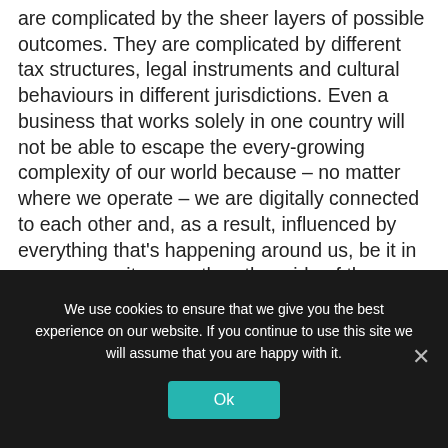are complicated by the sheer layers of possible outcomes. They are complicated by different tax structures, legal instruments and cultural behaviours in different jurisdictions. Even a business that works solely in one country will not be able to escape the every-growing complexity of our world because – no matter where we operate – we are digitally connected to each other and, as a result, influenced by everything that's happening around us, be it in our community or on the other side of the world. While IQ is important, as the example demonstrates, IQ itself is no longer sufficient to solve the problem – you need cognitive diversity, the different ways in which we interpret situations and
We use cookies to ensure that we give you the best experience on our website. If you continue to use this site we will assume that you are happy with it.